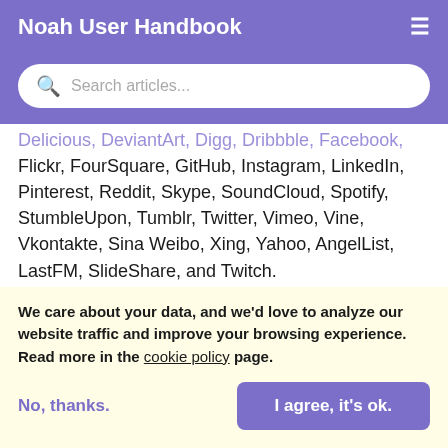Noah User Handbook
Delicious, DeviantArt, Digg, Dribbble, Facebook, Flickr, FourSquare, GitHub, Instagram, LinkedIn, Pinterest, Reddit, Skype, SoundCloud, Spotify, StumbleUpon, Tumblr, Twitter, Vimeo, Vine, Vkontakte, Sina Weibo, Xing, Yahoo, AngelList, LastFM, SlideShare, and Twitch.
Updated on July 22, 2021
We care about your data, and we'd love to analyze our website traffic and improve your browsing experience. Read more in the cookie policy page.
No, thanks.
I agree, it's ok.